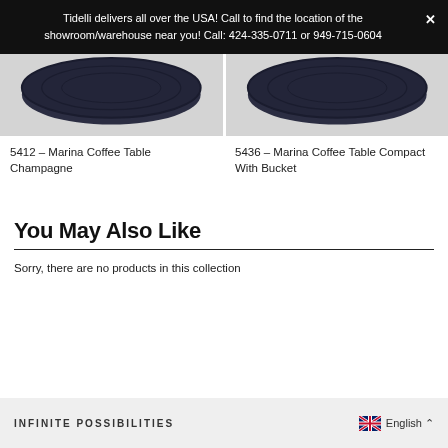Tidelli delivers all over the USA! Call to find the location of the showroom/warehouse near you! Call: 424-335-0711 or 949-715-0604
[Figure (photo): Product image of Marina Coffee Table Champagne (5412), dark navy woven top on light grey background]
5412 – Marina Coffee Table Champagne
[Figure (photo): Product image of Marina Coffee Table Compact With Bucket (5436), dark navy woven top on light grey background]
5436 – Marina Coffee Table Compact With Bucket
You May Also Like
Sorry, there are no products in this collection
INFINITE POSSIBILITIES   English